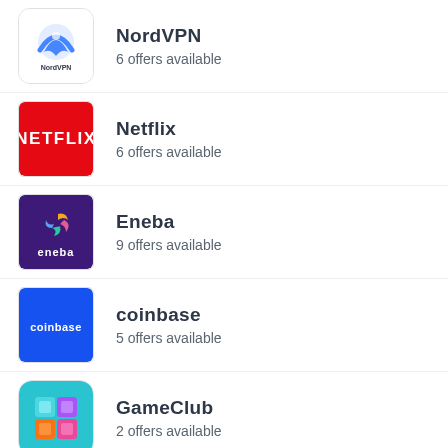[Figure (logo): NordVPN logo — blue arch/mountain symbol on white background]
NordVPN
6 offers available
[Figure (logo): Netflix logo — white NETFLIX text on red background]
Netflix
6 offers available
[Figure (logo): Eneba logo — colorful swirl icon and 'eneba' text on purple background]
Eneba
9 offers available
[Figure (logo): Coinbase logo — white 'coinbase' text on blue background]
coinbase
5 offers available
[Figure (logo): GameClub logo — colorful grid of squares on teal rounded background]
GameClub
2 offers available
[Figure (logo): Musicnotes logo — musical note silhouette on white background (partially visible)]
Musicnotes
10 offers available